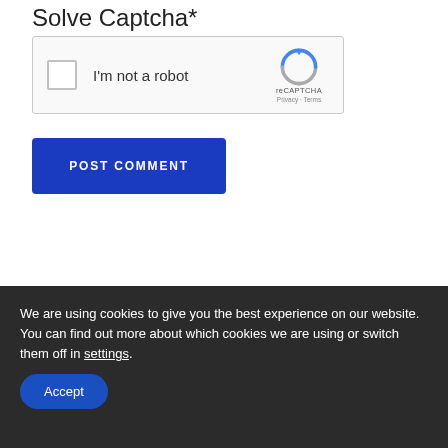Solve Captcha*
[Figure (screenshot): reCAPTCHA widget with checkbox labeled 'I'm not a robot' and reCAPTCHA logo with Privacy and Terms links]
POST COMMENT
We are using cookies to give you the best experience on our website.
You can find out more about which cookies we are using or switch them off in settings.
Accept